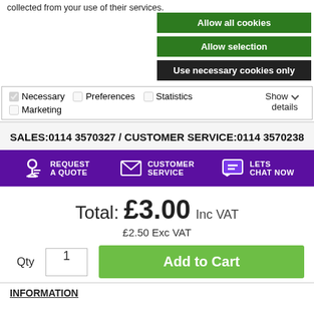collected from your use of their services.
Allow all cookies
Allow selection
Use necessary cookies only
Necessary  Preferences  Statistics  Marketing  Show details
SALES:0114 3570327 / CUSTOMER SERVICE:0114 3570238
[Figure (infographic): Purple navigation bar with icons for REQUEST A QUOTE, CUSTOMER SERVICE, LETS CHAT NOW]
Total: £3.00 Inc VAT £2.50 Exc VAT
Qty 1  Add to Cart
INFORMATION